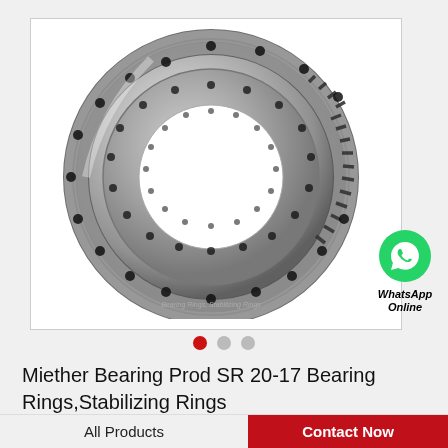[Figure (photo): Large circular slewing bearing ring with gear teeth on outer edge and bolt holes around the ring, shown in metallic silver/grey finish against white background. Miether Bearing Prod SR 20-17 Bearing Rings, Stabilizing Rings product photo.]
[Figure (logo): WhatsApp icon (green circle with white phone handset) with text 'WhatsApp Online' below it in italic bold font.]
Miether Bearing Prod SR 20-17 Bearing Rings,Stabilizing Rings
All Products
Contact Now